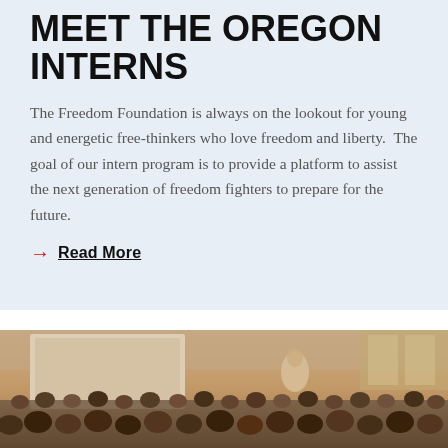MEET THE OREGON INTERNS
The Freedom Foundation is always on the lookout for young and energetic free-thinkers who love freedom and liberty.  The goal of our intern program is to provide a platform to assist the next generation of freedom fighters to prepare for the future.
→ Read More
[Figure (photo): Sepia-toned photograph of a large audience in a conference hall, viewed from the back, with a speaker and projection screen at the front.]